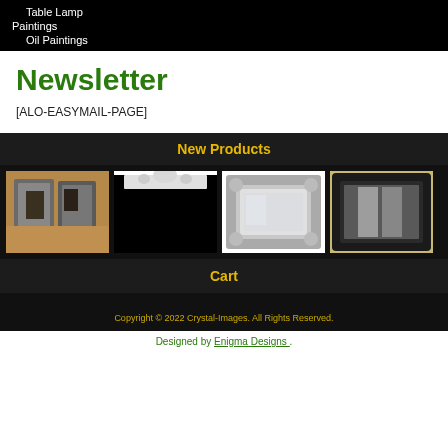Table Lamp
Paintings
Oil Paintings
Newsletter
[ALO-EASYMAIL-PAGE]
New Products
[Figure (photo): Row of framed mirrors/paintings leaning against a wall in a showroom]
[Figure (photo): Ornate white/silver picture frame, partially shown with black fill at bottom]
[Figure (photo): Ornate silver baroque style rectangular mirror]
[Figure (photo): Dark/black wooden framed mirror hanging on a wall]
Cart
Copyright © 2022 Crystal-Images. All Rights Reserved.
Designed by Enigma Designs .